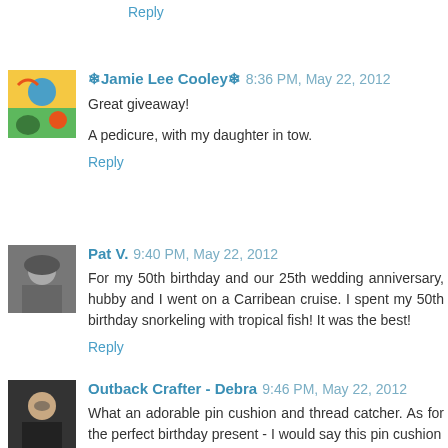Reply
❄Jamie Lee Cooley❄  8:36 PM, May 22, 2012
Great giveaway!

A pedicure, with my daughter in tow.
Reply
[Figure (photo): Colorful illustrated avatar with yellow/orange/green/blue colors]
Pat V.  9:40 PM, May 22, 2012
For my 50th birthday and our 25th wedding anniversary, hubby and I went on a Carribean cruise. I spent my 50th birthday snorkeling with tropical fish! It was the best!
Reply
[Figure (photo): Avatar showing a person with hat, grayscale]
Outback Crafter - Debra  9:46 PM, May 22, 2012
What an adorable pin cushion and thread catcher. As for the perfect birthday present - I would say this pin cushion
[Figure (photo): Avatar showing a person with glasses, dark background]